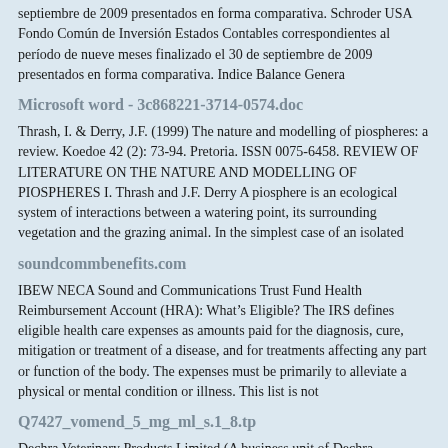septiembre de 2009 presentados en forma comparativa. Schroder USA Fondo Común de Inversión Estados Contables correspondientes al período de nueve meses finalizado el 30 de septiembre de 2009 presentados en forma comparativa. Indice Balance Genera
Microsoft word - 3c868221-3714-0574.doc
Thrash, I. & Derry, J.F. (1999) The nature and modelling of piospheres: a review. Koedoe 42 (2): 73-94. Pretoria. ISSN 0075-6458. REVIEW OF LITERATURE ON THE NATURE AND MODELLING OF PIOSPHERES I. Thrash and J.F. Derry A piosphere is an ecological system of interactions between a watering point, its surrounding vegetation and the grazing animal. In the simplest case of an isolated
soundcommbenefits.com
IBEW NECA Sound and Communications Trust Fund Health Reimbursement Account (HRA): What's Eligible? The IRS defines eligible health care expenses as amounts paid for the diagnosis, cure, mitigation or treatment of a disease, and for treatments affecting any part or function of the body. The expenses must be primarily to alleviate a physical or mental condition or illness. This list is not
Q7427_vomend_5_mg_ml_s.1_8.tp
Dechra Veterinary Products Limited (A business unit of Dechra Pharmaceuticals PLC) Sansaw Business Park Hadnall,